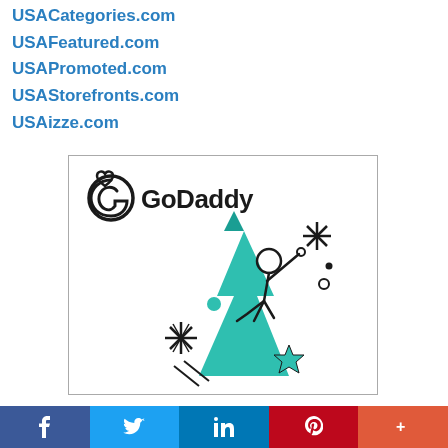USACategories.com
USAFeatured.com
USAPromoted.com
USAStorefronts.com
USAizze.com
[Figure (logo): GoDaddy advertisement with logo and illustration of a person riding a large teal arrow upward, surrounded by stars and sparkles]
Facebook | Twitter | LinkedIn | Pinterest | More